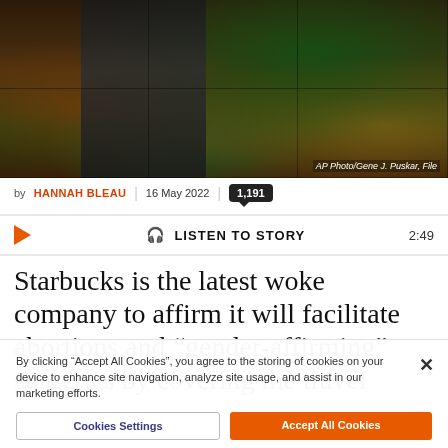[Figure (photo): Woman in black outfit walking past a Starbucks storefront with colorful mural artwork visible through glass panels. Photo credit: AP Photo/Gene J. Puskar, File]
AP Photo/Gene J. Puskar, File
by HANNAH BLEAU | 16 May 2022 | 1,191
🎧 LISTEN TO STORY  2:49
Starbucks is the latest woke company to affirm it will facilitate abortions and “gender-affirming” surgeries by covering the travel
By clicking “Accept All Cookies”, you agree to the storing of cookies on your device to enhance site navigation, analyze site usage, and assist in our marketing efforts.
Cookies Settings | Accept All Cookies